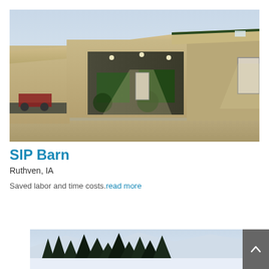[Figure (photo): Exterior photograph of a large metal agricultural SIP barn with open bifold doors revealing farm equipment inside, concrete apron, flat sandy lot, overcast sky.]
SIP Barn
Ruthven, IA
Saved labor and time costs. read more
[Figure (photo): Partial photograph at bottom of page showing a snowy winter landscape with dark evergreen trees and mountains in background.]